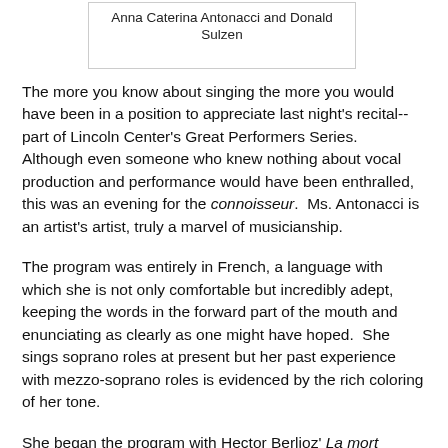Anna Caterina Antonacci and Donald Sulzen
The more you know about singing the more you would have been in a position to appreciate last night's recital--part of Lincoln Center's Great Performers Series.  Although even someone who knew nothing about vocal production and performance would have been enthralled, this was an evening for the connoisseur.  Ms. Antonacci is an artist's artist, truly a marvel of musicianship.
The program was entirely in French, a language with which she is not only comfortable but incredibly adept, keeping the words in the forward part of the mouth and enunciating as clearly as one might have hoped.  She sings soprano roles at present but her past experience with mezzo-soprano roles is evidenced by the rich coloring of her tone.
She began the program with Hector Berlioz' La mort d'Ophélie, the sad tale of Ophelia's death from Shakespeare's Hamlet.  The heartfelt emotion of the text by Ernest Legouvé was beautifully conveyed by apt word